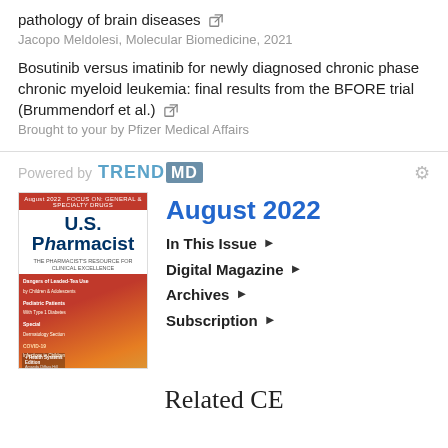pathology of brain diseases
Jacopo Meldolesi, Molecular Biomedicine, 2021
Bosutinib versus imatinib for newly diagnosed chronic phase chronic myeloid leukemia: final results from the BFORE trial (Brummendorf et al.)
Brought to your by Pfizer Medical Affairs
Powered by TREND MD
[Figure (illustration): U.S. Pharmacist magazine cover, August 2022 issue showing a person drinking through a straw with a colorful background. Cover text includes 'Dangers of Leaded-Tea Use by Children & Adolescents', 'Pediatric Patients With Type 1 Diabetes', 'Special Dermatology Section', 'COVID-19 Infections in Children', 'Health Systems Edition']
August 2022
In This Issue ▶
Digital Magazine ▶
Archives ▶
Subscription ▶
Related CE